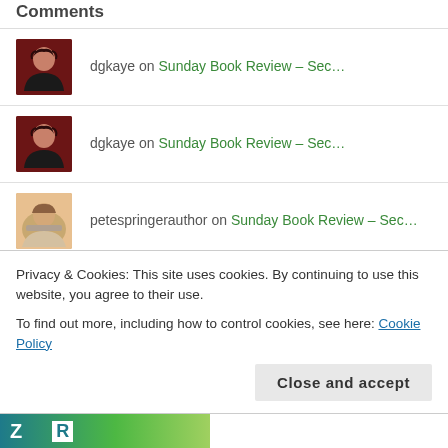Comments
dgkaye on Sunday Book Review – Sec…
dgkaye on Sunday Book Review – Sec…
petespringerauthor on Sunday Book Review – Sec…
Gwen M. Plano on Sunday Book Review – Sec…
dgkaye on Sunday Book Review – Sec…
Privacy & Cookies: This site uses cookies. By continuing to use this website, you agree to their use. To find out more, including how to control cookies, see here: Cookie Policy
Close and accept